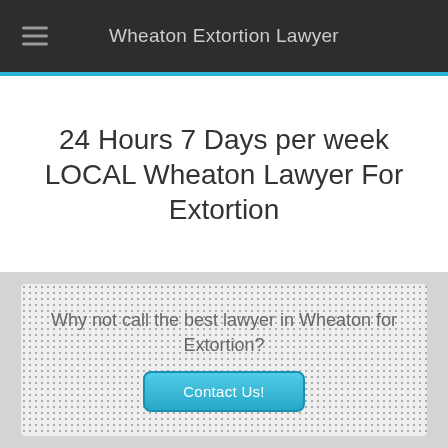Wheaton Extortion Lawyer
24 Hours 7 Days per week LOCAL Wheaton Lawyer For Extortion
Why not call the best lawyer in Wheaton for Extortion?
Contact Us!